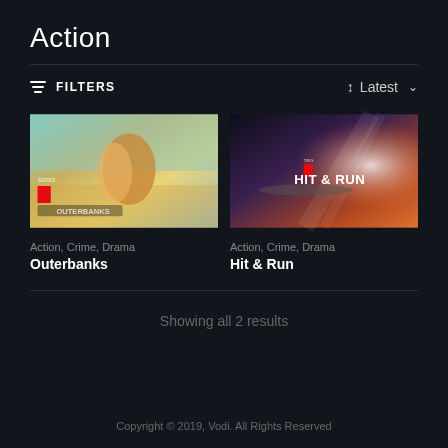Action
FILTERS
Latest
[Figure (screenshot): Outerbanks Netflix series thumbnail showing a young couple, beach/sky background]
Action, Crime, Drama
Outerbanks
[Figure (screenshot): Hit & Run Netflix series thumbnail showing a person on a reflective floor with dramatic lighting]
Action, Crime, Drama
Hit & Run
Showing all 2 results
Copyright © 2019, Vodi. All Rights Reserved